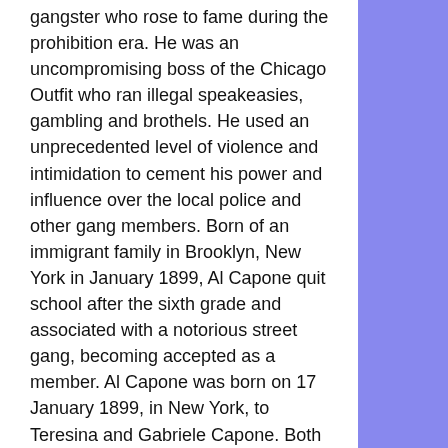gangster who rose to fame during the prohibition era. He was an uncompromising boss of the Chicago Outfit who ran illegal speakeasies, gambling and brothels. He used an unprecedented level of violence and intimidation to cement his power and influence over the local police and other gang members. Born of an immigrant family in Brooklyn, New York in January 1899, Al Capone quit school after the sixth grade and associated with a notorious street gang, becoming accepted as a member. Al Capone was born on 17 January 1899, in New York, to Teresina and Gabriele Capone. Both his parents were immigrants of Italian origin.
While Capone's mother worked as a seamstress, his father Gabriele worked as a barber. His original name was Alphonse Capone. Mar 04, 2022Al Capone biography: key facts about the American gangster